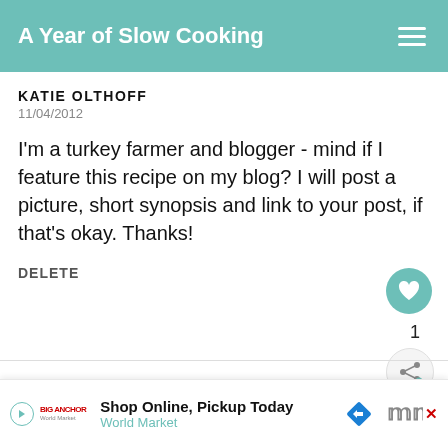A Year of Slow Cooking
KATIE OLTHOFF
11/04/2012
I'm a turkey farmer and blogger - mind if I feature this recipe on my blog? I will post a picture, short synopsis and link to your post, if that's okay. Thanks!
DELETE
[Figure (infographic): Teal circular like/heart button with heart icon, count of 1, and share button below]
[Figure (infographic): What's Next arrow with food thumbnail image and text: CrockPot Whole Turke...]
[Figure (photo): Circular avatar photo of a woman with red/orange top]
STEPHANIE ODEA
Shop Online, Pickup Today World Market (advertisement)